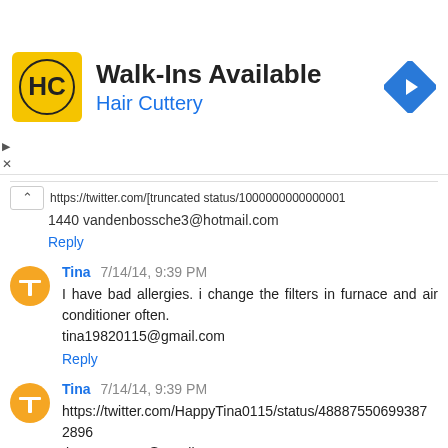[Figure (logo): Hair Cuttery advertisement banner with HC logo, 'Walk-Ins Available' heading, 'Hair Cuttery' subtitle in blue, and blue navigation diamond icon]
https://twitter.com/[truncated] 1440 vandenbossche3@hotmail.com
Reply
Tina 7/14/14, 9:39 PM
I have bad allergies. i change the filters in furnace and air conditioner often. tina19820115@gmail.com
Reply
Tina 7/14/14, 9:39 PM
https://twitter.com/HappyTina0115/status/488875506993872896 tina19820115@gmail.com